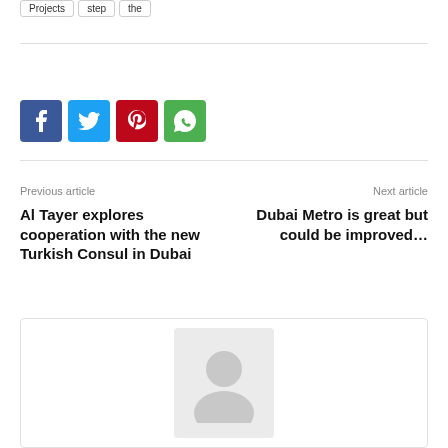Projects
step
the
[Figure (infographic): Social share buttons: Facebook (blue), Twitter (light blue), Pinterest (red), WhatsApp (green)]
Previous article
Next article
Al Tayer explores cooperation with the new Turkish Consul in Dubai
Dubai Metro is great but could be improved…
[Figure (photo): Author avatar placeholder image inside a card box]